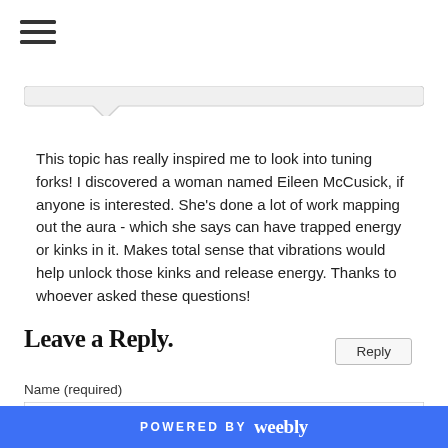[Figure (other): Hamburger menu icon (three horizontal lines)]
[Figure (other): Speech bubble tail / comment box top border graphic]
This topic has really inspired me to look into tuning forks! I discovered a woman named Eileen McCusick, if anyone is interested. She’s done a lot of work mapping out the aura - which she says can have trapped energy or kinks in it. Makes total sense that vibrations would help unlock those kinks and release energy. Thanks to whoever asked these questions!
Reply
Leave a Reply.
Name (required)
[Figure (other): Name text input field (empty)]
POWERED BY weebly